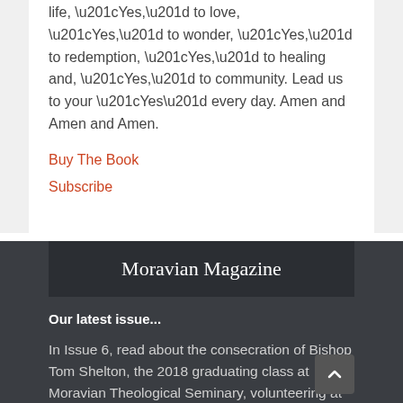life, “Yes,” to love, “Yes,” to wonder, “Yes,” to redemption, “Yes,” to healing and, “Yes,” to community. Lead us to your “Yes” every day. Amen and Amen and Amen.
Buy The Book
Subscribe
Moravian Magazine
Our latest issue...
In Issue 6, read about the consecration of Bishop Tom Shelton, the 2018 graduating class at Moravian Theological Seminary, volunteering at Moravian Open Door, worship as an emotional